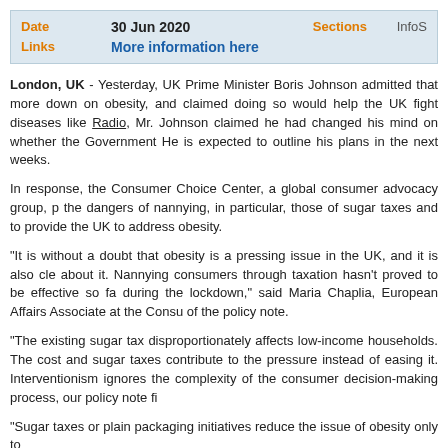Date  30 Jun 2020  Sections  InfoS
Links  More information here
London, UK - Yesterday, UK Prime Minister Boris Johnson admitted that more down on obesity, and claimed doing so would help the UK fight diseases like Radio, Mr. Johnson claimed he had changed his mind on whether the Government He is expected to outline his plans in the next weeks.
In response, the Consumer Choice Center, a global consumer advocacy group, p the dangers of nannying, in particular, those of sugar taxes and to provide the UK to address obesity.
“It is without a doubt that obesity is a pressing issue in the UK, and it is also cle about it. Nannying consumers through taxation hasn't proved to be effective so fa during the lockdown,” said Maria Chaplia, European Affairs Associate at the Consu of the policy note.
“The existing sugar tax disproportionately affects low-income households. The cost and sugar taxes contribute to the pressure instead of easing it. Interventionism ignores the complexity of the consumer decision-making process, our policy note fi
“Sugar taxes or plain packaging initiatives reduce the issue of obesity only to